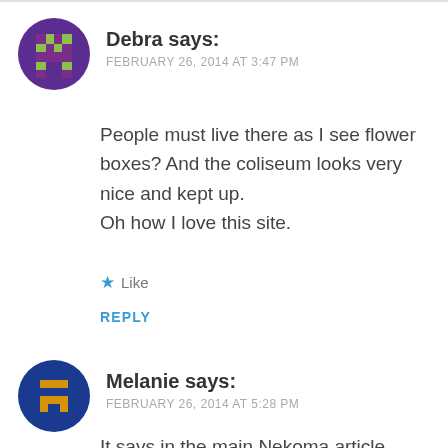[Figure (illustration): Purple pixel-art avatar for user Debra]
Debra says:
FEBRUARY 26, 2014 AT 3:47 PM
People must live there as I see flower boxes? And the coliseum looks very nice and kept up.
Oh how I love this site.
★ Like
REPLY
[Figure (illustration): Blue and gold pixel-art avatar for user Melanie]
Melanie says:
FEBRUARY 26, 2014 AT 5:28 PM
It says in the main Nekoma article